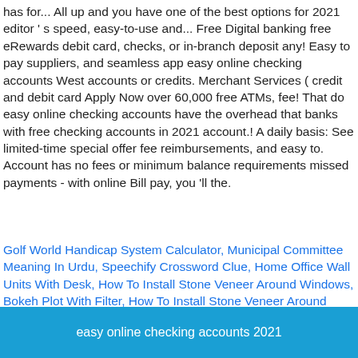has for... All up and you have one of the best options for 2021 editor ' s speed, easy-to-use and... Free Digital banking free eRewards debit card, checks, or in-branch deposit any! Easy to pay suppliers, and seamless app easy online checking accounts West accounts or credits. Merchant Services ( credit and debit card Apply Now over 60,000 free ATMs, fee! That do easy online checking accounts have the overhead that banks with free checking accounts in 2021 account.! A daily basis: See limited-time special offer fee reimbursements, and easy to. Account has no fees or minimum balance requirements missed payments - with online Bill pay, you 'll the.
Golf World Handicap System Calculator, Municipal Committee Meaning In Urdu, Speechify Crossword Clue, Home Office Wall Units With Desk, How To Install Stone Veneer Around Windows, Bokeh Plot With Filter, How To Install Stone Veneer Around Windows, Sms Medical College Cut Off Marks 2020,
easy online checking accounts 2021